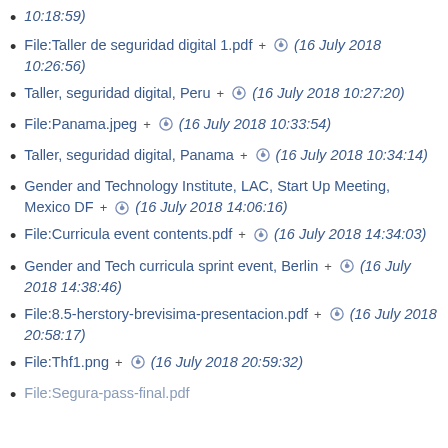10:18:59)
File:Taller de seguridad digital 1.pdf + ⊕ (16 July 2018 10:26:56)
Taller, seguridad digital, Peru + ⊕ (16 July 2018 10:27:20)
File:Panama.jpeg + ⊕ (16 July 2018 10:33:54)
Taller, seguridad digital, Panama + ⊕ (16 July 2018 10:34:14)
Gender and Technology Institute, LAC, Start Up Meeting, Mexico DF + ⊕ (16 July 2018 14:06:16)
File:Curricula event contents.pdf + ⊕ (16 July 2018 14:34:03)
Gender and Tech curricula sprint event, Berlin + ⊕ (16 July 2018 14:38:46)
File:8.5-herstory-brevisima-presentacion.pdf + ⊕ (16 July 2018 20:58:17)
File:Thf1.png + ⊕ (16 July 2018 20:59:32)
File:Segura-pass-final.pdf + ⊕ (16 July 2018 21:...)